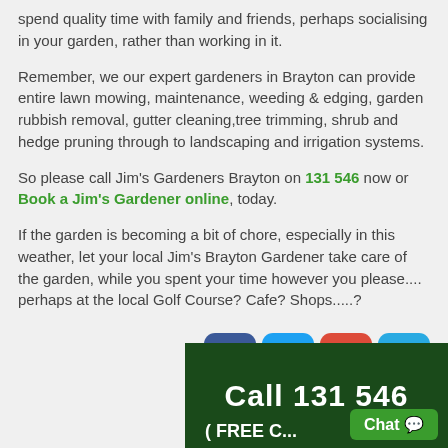spend quality time with family and friends, perhaps socialising in your garden, rather than working in it.
Remember, we our expert gardeners in Brayton can provide entire lawn mowing, maintenance, weeding & edging, garden rubbish removal, gutter cleaning,tree trimming, shrub and hedge pruning through to landscaping and irrigation systems.
So please call Jim's Gardeners Brayton on 131 546 now or Book a Jim's Gardener online, today.
If the garden is becoming a bit of chore, especially in this weather, let your local Jim's Brayton Gardener take care of the garden, while you spent your time however you please.... perhaps at the local Golf Course? Cafe? Shops.....?
[Figure (infographic): Share this row with Facebook, Twitter, Google+, and Email social media buttons]
[Figure (screenshot): Dark green banner at the bottom showing 'Call 131 546' text and a Chat button]